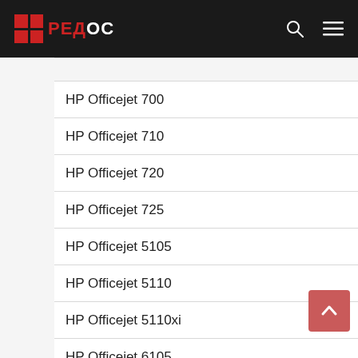РЕДОС
HP Officejet 700
HP Officejet 710
HP Officejet 720
HP Officejet 725
HP Officejet 5105
HP Officejet 5110
HP Officejet 5110xi
HP Officejet 6105